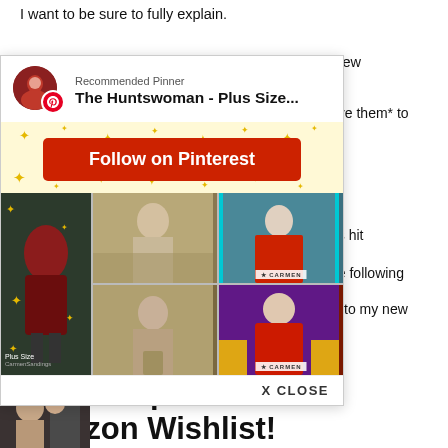I want to be sure to fully explain.
It is much easier to have items *shipped* to your new
[Figure (screenshot): Pinterest recommended pinner overlay popup showing 'The Huntswoman - Plus Size...' with a Follow on Pinterest button and a grid of fashion photos, plus a sparkle/star decorative background. Includes X CLOSE button at bottom.]
ove them* to
as hit
he following
ly to my new
Bonus Tip: Share an Amazon Wishlist!